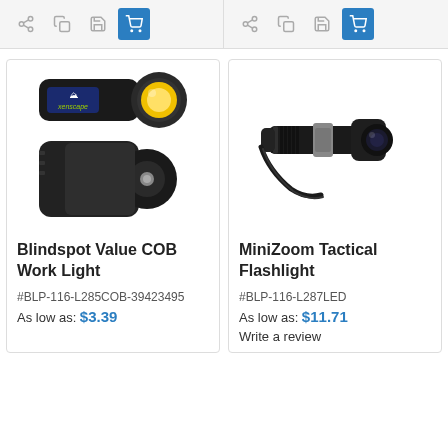[Figure (screenshot): Top toolbar row with share, copy, save, and cart icons for two products]
[Figure (photo): Blindspot Value COB Work Light product image showing front and back views of the light]
Blindspot Value COB Work Light
#BLP-116-L285COB-39423495
As low as: $3.39
[Figure (photo): MiniZoom Tactical Flashlight product image showing a black tactical flashlight with wrist strap]
MiniZoom Tactical Flashlight
#BLP-116-L287LED
As low as: $11.71
Write a review